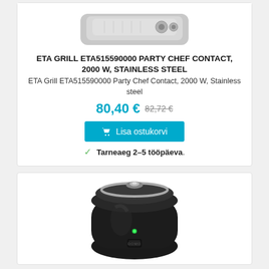[Figure (photo): Partial top view of a stainless steel contact grill (ETA515590000), cropped at the top of the card]
ETA GRILL ETA515590000 PARTY CHEF CONTACT, 2000 W, STAINLESS STEEL
ETA Grill ETA515590000 Party Chef Contact, 2000 W, Stainless steel
80,40 € 82,72 €
Lisa ostukorvi
Tarneaeg 2-5 tööpäeva.
[Figure (photo): Black electric air fryer or similar kitchen appliance, round barrel shape with silver trim lid and green indicator light, branded DOMO]